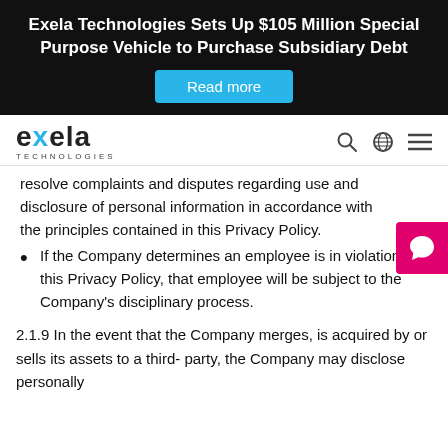Exela Technologies Sets Up $105 Million Special Purpose Vehicle to Purchase Subsidiary Debt
resolve complaints and disputes regarding use and disclosure of personal information in accordance with the principles contained in this Privacy Policy.
If the Company determines an employee is in violation of this Privacy Policy, that employee will be subject to the Company's disciplinary process.
2.1.9 In the event that the Company merges, is acquired by or sells its assets to a third- party, the Company may disclose personally